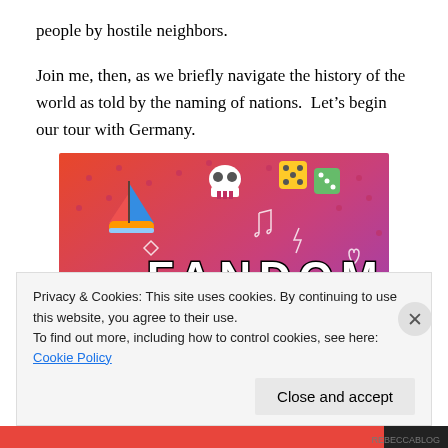people by hostile neighbors.
Join me, then, as we briefly navigate the history of the world as told by the naming of nations.  Let’s begin our tour with Germany.
[Figure (illustration): Colorful promotional image for 'Fandom on Tumblr' with gradient orange-to-purple background, featuring white doodle icons (skull, sailboat, dice, music notes, arrows, hearts) and large block letters reading 'FANDOM ON tumblr']
Privacy & Cookies: This site uses cookies. By continuing to use this website, you agree to their use.
To find out more, including how to control cookies, see here: Cookie Policy